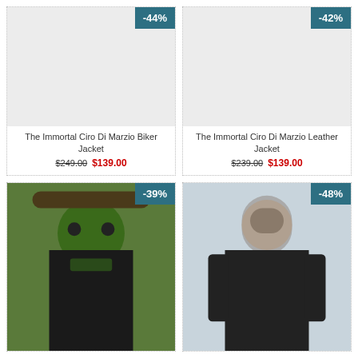[Figure (photo): Product card showing blank image placeholder with -44% discount badge for The Immortal Ciro Di Marzio Biker Jacket]
The Immortal Ciro Di Marzio Biker Jacket
$249.00  $139.00
[Figure (photo): Product card showing blank image placeholder with -42% discount badge for The Immortal Ciro Di Marzio Leather Jacket]
The Immortal Ciro Di Marzio Leather Jacket
$239.00  $139.00
[Figure (photo): Product card showing photo of person with green face paint and hat, with -39% discount badge]
[Figure (photo): Product card showing photo of person in black leather jacket, with -48% discount badge]